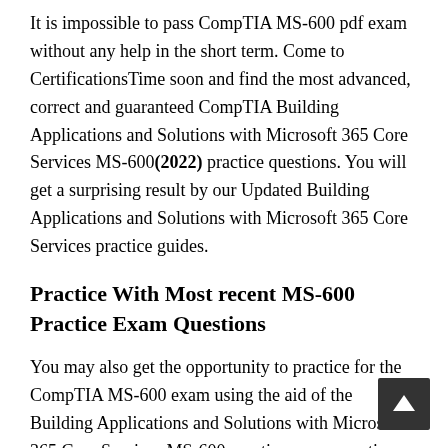It is impossible to pass CompTIA MS-600 pdf exam without any help in the short term. Come to CertificationsTime soon and find the most advanced, correct and guaranteed CompTIA Building Applications and Solutions with Microsoft 365 Core Services MS-600(2022) practice questions. You will get a surprising result by our Updated Building Applications and Solutions with Microsoft 365 Core Services practice guides.
Practice With Most recent MS-600 Practice Exam Questions
You may also get the opportunity to practice for the CompTIA MS-600 exam using the aid of the Building Applications and Solutions with Microsoft 365 Core Services MS-600 practice exam questions. This updated MS-600 braindumps questions are equipped with